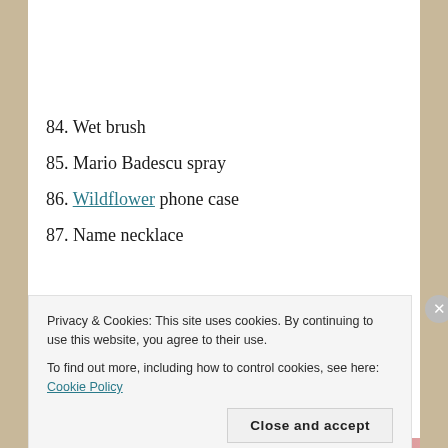[Figure (photo): Partial photo visible at top of page, light colored background, cropped]
84. Wet brush
85. Mario Badescu spray
86. Wildflower phone case
87. Name necklace
Privacy & Cookies: This site uses cookies. By continuing to use this website, you agree to their use.
To find out more, including how to control cookies, see here: Cookie Policy
Close and accept